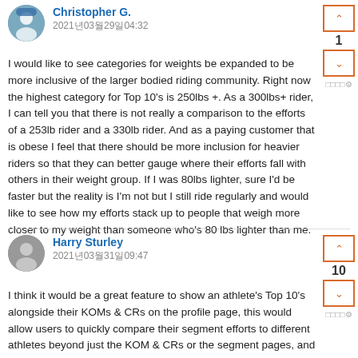Christopher G.
2021년03월29일04:32
I would like to see categories for weights be expanded to be more inclusive of the larger bodied riding community. Right now the highest category for Top 10's is 250lbs +. As a 300lbs+ rider, I can tell you that there is not really a comparison to the efforts of a 253lb rider and a 330lb rider. And as a paying customer that is obese I feel that there should be more inclusion for heavier riders so that they can better gauge where their efforts fall with others in their weight group. If I was 80lbs lighter, sure I'd be faster but the reality is I'm not but I still ride regularly and would like to see how my efforts stack up to people that weigh more closer to my weight than someone who's 80 lbs lighter than me.
Harry Sturley
2021년03월31일09:47
I think it would be a great feature to show an athlete's Top 10's alongside their KOMs & CRs on the profile page, this would allow users to quickly compare their segment efforts to different athletes beyond just the KOM & CRs or the segment pages, and also allows